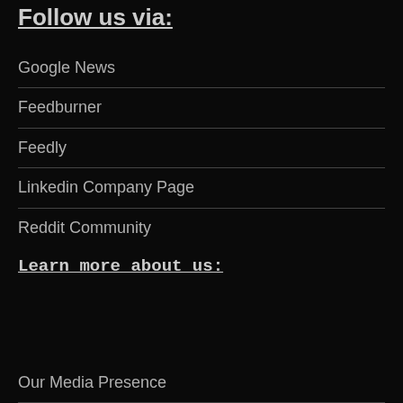Follow us via:
Google News
Feedburner
Feedly
Linkedin Company Page
Reddit Community
Learn more about us:
Our Media Presence